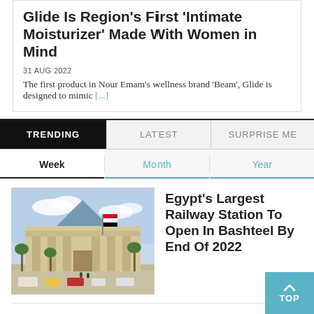Glide Is Region's First 'Intimate Moisturizer' Made With Women in Mind
31 AUG 2022
The first product in Nour Emam's wellness brand 'Beam', Glide is designed to mimic [...]
TRENDING | LATEST | SURPRISE ME
Week | Month | Year
[Figure (photo): Exterior of a large neoclassical building with columns, palm trees, cars and a flag in front, likely a railway station rendering]
Egypt's Largest Railway Station To Open In Bashteel By End Of 2022